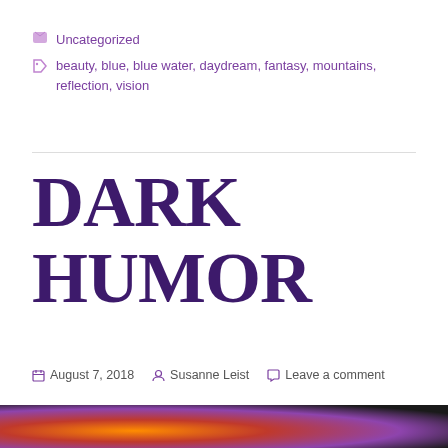Uncategorized
beauty, blue, blue water, daydream, fantasy, mountains, reflection, vision
DARK HUMOR
August 7, 2018   Susanne Leist   Leave a comment
[Figure (photo): Dark abstract image with swirling warm colors (orange, red, purple) against a black background, visible at the bottom of the page]